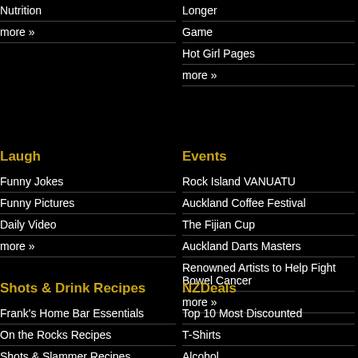Nutrition
more »
Longer
Game
Hot Girl Pages
more »
Laugh
Funny Jokes
Funny Pictures
Daily Video
more »
Events
Rock Island VANUATU
Auckland Coffee Festival
The Fijian Cup
Auckland Darts Masters
Renowned Artists to Help Fight Bowel Cancer
more »
Shots & Drink Recipes
Frank's Home Bar Essentials
On the Rocks Recipes
Shots & Slammer Recipes
Flaming Cocktail Recipes
NZDeals
Top 10 Most Discounted
T-Shirts
Alcohol
Coupons